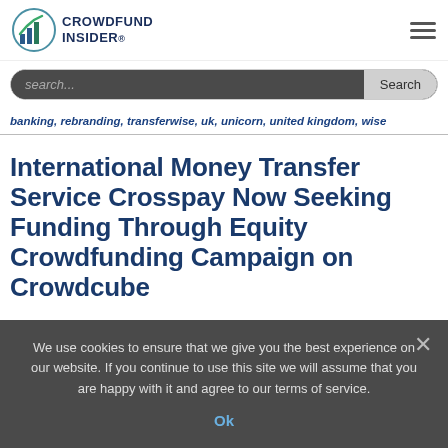[Figure (logo): Crowdfund Insider logo with bar chart icon and text]
search...
banking, rebranding, transferwise, uk, unicorn, united kingdom, wise
International Money Transfer Service Crosspay Now Seeking Funding Through Equity Crowdfunding Campaign on Crowdcube
We use cookies to ensure that we give you the best experience on our website. If you continue to use this site we will assume that you are happy with it and agree to our terms of service.
Ok